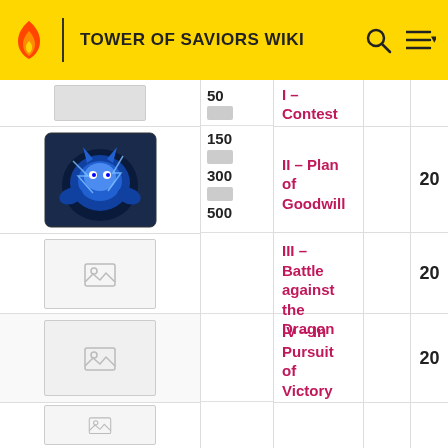TOWER OF SAVIORS WIKI
| Image | Level | Stage Name | Details | Stamina |
| --- | --- | --- | --- | --- |
| [image] | 50 / 150 / 300 / 500 | I – Contest between Allies |  |  |
| [image] |  | II – Plan of Goodwill |  | 20 |
| [image] |  | III – Battle against the Dragon |  | 20 |
| [image] |  | IV – In Pursuit of Victory |  | 20 |